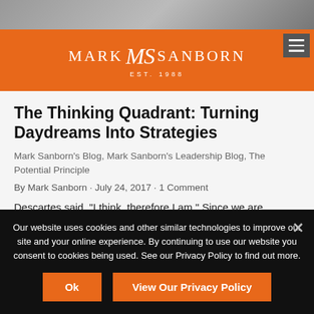[Figure (logo): Mark Sanborn logo on orange header bar with hamburger menu button]
The Thinking Quadrant: Turning Daydreams Into Strategies
Mark Sanborn's Blog, Mark Sanborn's Leadership Blog, The Potential Principle
By Mark Sanborn · July 24, 2017 · 1 Comment
Descartes said, “I think, therefore I am.” Since we are thinking, Descartes asserted, we must
Our website uses cookies and other similar technologies to improve our site and your online experience. By continuing to use our website you consent to cookies being used. See our Privacy Policy to find out more.